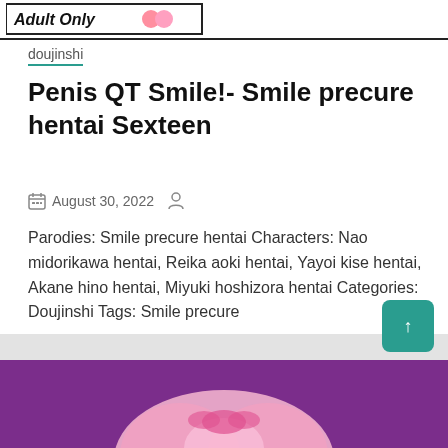[Figure (illustration): Top banner image strip with adult content site logo/header, partially visible, black border at bottom]
doujinshi
Penis QT Smile!- Smile precure hentai Sexteen
August 30, 2022
Parodies: Smile precure hentai Characters: Nao midorikawa hentai, Reika aoki hentai, Yayoi kise hentai, Akane hino hentai, Miyuki hoshizora hentai Categories: Doujinshi Tags: Smile precure
Shows More
[Figure (illustration): Anime/hentai illustration with purple background, partially visible]